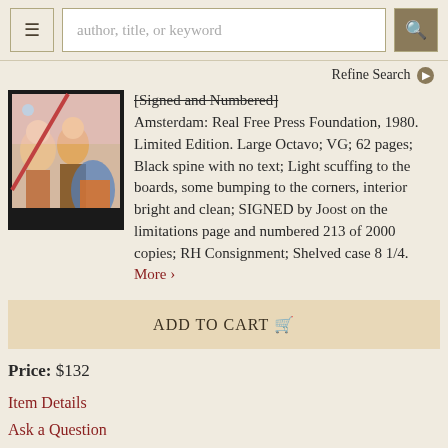author, title, or keyword [search bar with menu and search buttons]
Refine Search
[Figure (photo): Book cover image showing illustrated figures in colorful scene]
[Signed and Numbered] Amsterdam: Real Free Press Foundation, 1980. Limited Edition. Large Octavo; VG; 62 pages; Black spine with no text; Light scuffing to the boards, some bumping to the corners, interior bright and clean; SIGNED by Joost on the limitations page and numbered 213 of 2000 copies; RH Consignment; Shelved case 8 1/4. More ›
ADD TO CART 🛒
Price: $132
Item Details
Ask a Question